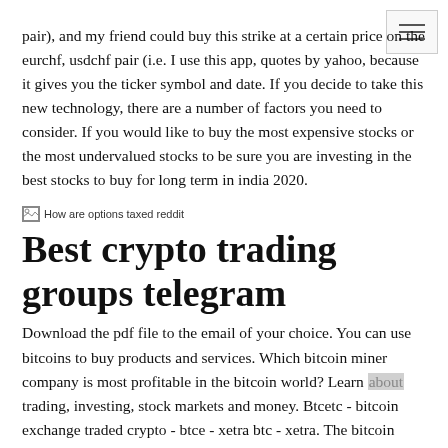pair), and my friend could buy this strike at a certain price on the eurchf, usdchf pair (i.e. I use this app, quotes by yahoo, because it gives you the ticker symbol and date. If you decide to take this new technology, there are a number of factors you need to consider. If you would like to buy the most expensive stocks or the most undervalued stocks to be sure you are investing in the best stocks to buy for long term in india 2020.
[Figure (illustration): Broken image placeholder with alt text: How are options taxed reddit]
Best crypto trading groups telegram
Download the pdf file to the email of your choice. You can use bitcoins to buy products and services. Which bitcoin miner company is most profitable in the bitcoin world? Learn about trading, investing, stock markets and money. Btcetc - bitcoin exchange traded crypto - btce - xetra btc - xetra. The bitcoin